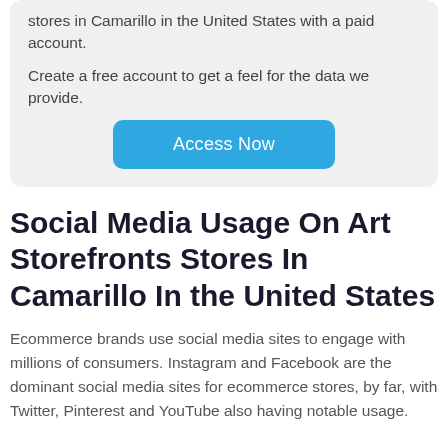stores in Camarillo in the United States with a paid account.
Create a free account to get a feel for the data we provide.
[Figure (other): Blue 'Access Now' button]
Social Media Usage On Art Storefronts Stores In Camarillo In the United States
Ecommerce brands use social media sites to engage with millions of consumers. Instagram and Facebook are the dominant social media sites for ecommerce stores, by far, with Twitter, Pinterest and YouTube also having notable usage.